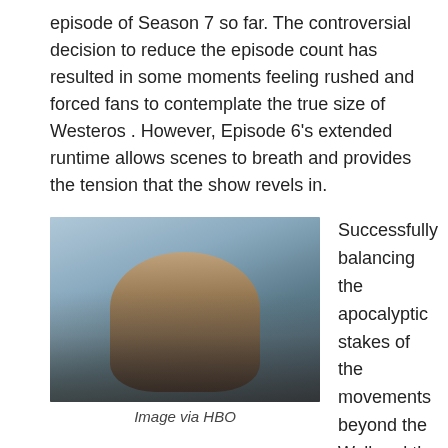episode of Season 7 so far. The controversial decision to reduce the episode count has resulted in some moments feeling rushed and forced fans to contemplate the true size of Westeros . However, Episode 6's extended runtime allows scenes to breath and provides the tension that the show revels in.
[Figure (photo): A bearded man in heavy fur-lined armor in a snowy, wintry landscape, from Game of Thrones.]
Image via HBO
Successfully balancing the apocalyptic stakes of the movements beyond the Wall and the smaller pieces that make Thrones so great, Alan Taylor (the show's most capped director) deftly focuses on the pawns as well as the knights. Character is of